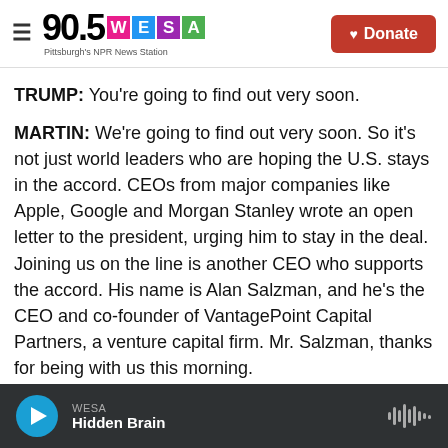90.5 WESA — Pittsburgh's NPR News Station | Donate
TRUMP: You're going to find out very soon.
MARTIN: We're going to find out very soon. So it's not just world leaders who are hoping the U.S. stays in the accord. CEOs from major companies like Apple, Google and Morgan Stanley wrote an open letter to the president, urging him to stay in the deal. Joining us on the line is another CEO who supports the accord. His name is Alan Salzman, and he's the CEO and co-founder of VantagePoint Capital Partners, a venture capital firm. Mr. Salzman, thanks for being with us this morning.
WESA — Hidden Brain